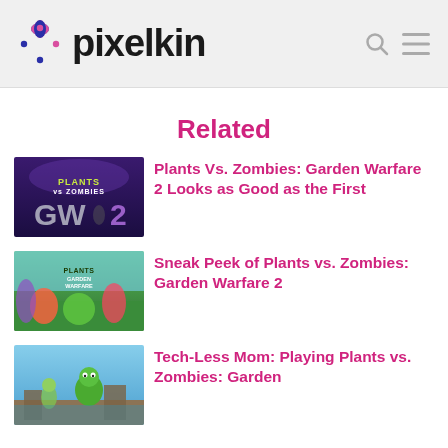pixelkin
Related
[Figure (screenshot): Plants vs. Zombies Garden Warfare 2 game thumbnail with GW2 logo on dark background]
Plants Vs. Zombies: Garden Warfare 2 Looks as Good as the First
[Figure (screenshot): Plants vs. Zombies Garden Warfare game screenshot with colorful plant and zombie characters]
Sneak Peek of Plants vs. Zombies: Garden Warfare 2
[Figure (screenshot): Plants vs. Zombies characters screenshot with green zombie and plant characters outdoors]
Tech-Less Mom: Playing Plants vs. Zombies: Garden